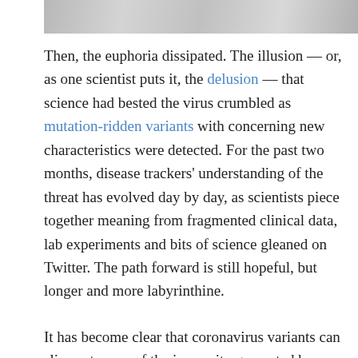[Figure (photo): Partial photograph at top of page showing blurred laboratory or medical setting with light gray tones]
Then, the euphoria dissipated. The illusion — or, as one scientist puts it, the delusion — that science had bested the virus crumbled as mutation-ridden variants with concerning new characteristics were detected. For the past two months, disease trackers' understanding of the threat has evolved day by day, as scientists piece together meaning from fragmented clinical data, lab experiments and bits of science gleaned on Twitter. The path forward is still hopeful, but longer and more labyrinthine.

It has become clear that coronavirus variants can slip past some of the immunity generated by vaccines and prior infections. The virulent v